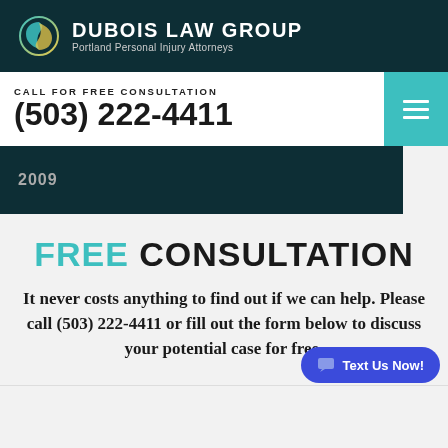DUBOIS LAW GROUP — Portland Personal Injury Attorneys
CALL FOR FREE CONSULTATION
(503) 222-4411
2009
FREE CONSULTATION
It never costs anything to find out if we can help. Please call (503) 222-4411 or fill out the form below to discuss your potential case for free.